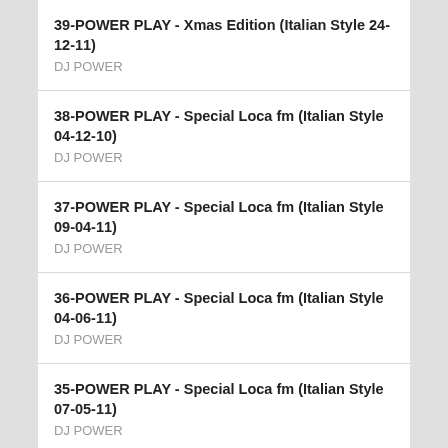39-POWER PLAY - Xmas Edition (Italian Style 24-12-11)
DJ POWER
38-POWER PLAY - Special Loca fm (Italian Style 04-12-10)
DJ POWER
37-POWER PLAY - Special Loca fm (Italian Style 09-04-11)
DJ POWER
36-POWER PLAY - Special Loca fm (Italian Style 04-06-11)
DJ POWER
35-POWER PLAY - Special Loca fm (Italian Style 07-05-11)
DJ POWER
34-POWER PLAY - Special Loca fm (Italian Style 05-03-11)
DJ POWER
33-POWER PLAY (Radio Emotions - 07-02-11 Power Contest 4)
DJ POWER